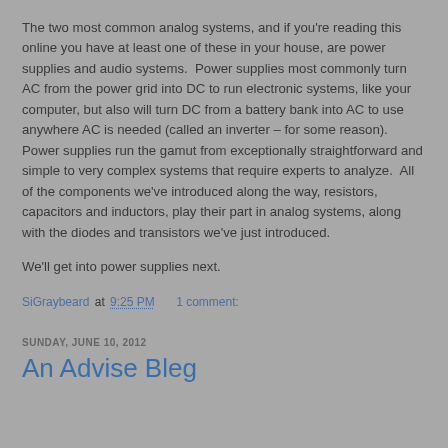The two most common analog systems, and if you're reading this online you have at least one of these in your house, are power supplies and audio systems.  Power supplies most commonly turn AC from the power grid into DC to run electronic systems, like your computer, but also will turn DC from a battery bank into AC to use anywhere AC is needed (called an inverter – for some reason).  Power supplies run the gamut from exceptionally straightforward and simple to very complex systems that require experts to analyze.  All of the components we've introduced along the way, resistors, capacitors and inductors, play their part in analog systems, along with the diodes and transistors we've just introduced.
We'll get into power supplies next.
SiGraybeard at 9:25 PM    1 comment:
SUNDAY, JUNE 10, 2012
An Advise Bleg